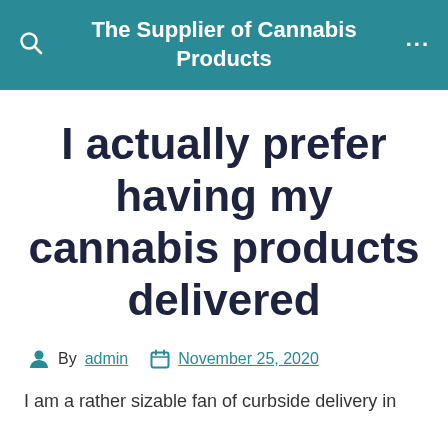The Supplier of Cannabis Products
I actually prefer having my cannabis products delivered
By admin  November 25, 2020
I am a rather sizable fan of curbside delivery in